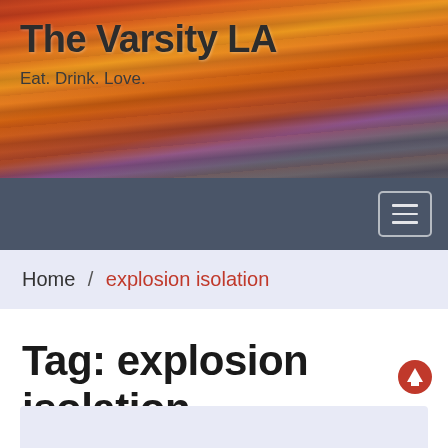The Varsity LA
Eat. Drink. Love.
[Figure (other): Hamburger menu icon button in dark navy navigation bar]
Home / explosion isolation
Tag: explosion isolation
[Figure (other): Scroll-to-top button with red arrow icon]
[Figure (other): Light lavender card preview area at bottom of page]